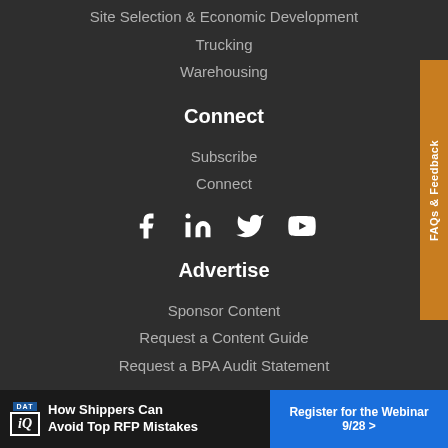Site Selection & Economic Development
Trucking
Warehousing
Connect
Subscribe
Connect
[Figure (infographic): Social media icons: Facebook, LinkedIn, Twitter, YouTube]
Advertise
Sponsor Content
Request a Content Guide
Request a BPA Audit Statement
[Figure (infographic): FAQs & Feedback tab on right side]
[Figure (infographic): Advertisement banner: DAT iQ - How Shippers Can Avoid Top RFP Mistakes - Register for the Webinar 9/28]